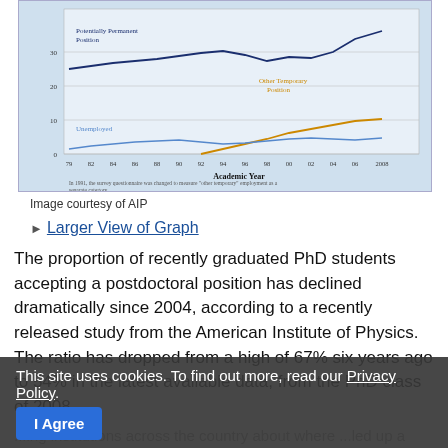[Figure (line-chart): Line chart showing physics PhD employment outcomes by academic year 1979-2008, with lines for Potentially Permanent Position, Other Temporary Position, and Unemployed. Source: http://www.aip.org/statistics]
Image courtesy of AIP
Larger View of Graph
The proportion of recently graduated PhD students accepting a postdoctoral position has declined dramatically since 2004, according to a recently released study from the American Institute of Physics. The ratio has dropped from a high of 67% six years ago to 54% in the latest available data, from the PhD class of 2008.
This site uses cookies. To find out more, read our Privacy Policy. I Agree
...ing institutions across the country about where ...led up a year after receiving their PhD, found that students are more freque...ntly opting to take phys...